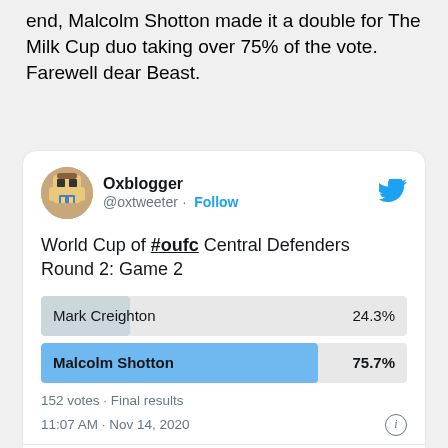end, Malcolm Shotton made it a double for The Milk Cup duo taking over 75% of the vote. Farewell dear Beast.
[Figure (screenshot): Embedded tweet from @oxtweeter (Oxblogger) showing a Twitter poll: 'World Cup of #oufc Central Defenders Round 2: Game 2'. Poll results: Mark Creighton 24.3%, Malcolm Shotton 75.7%. 152 votes · Final results. 11:07 AM · Nov 14, 2020. With Like, Reply, Copy link actions and 'Explore what's happening on Twitter' button.]